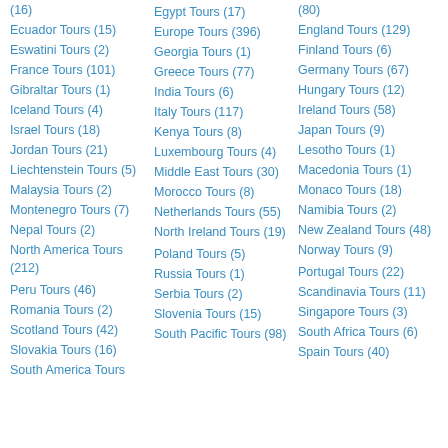(16)
(80)
Ecuador Tours (15)
Egypt Tours (17)
England Tours (129)
Eswatini Tours (2)
Europe Tours (396)
Finland Tours (6)
France Tours (101)
Georgia Tours (1)
Germany Tours (67)
Gibraltar Tours (1)
Greece Tours (77)
Hungary Tours (12)
Iceland Tours (4)
India Tours (6)
Ireland Tours (58)
Israel Tours (18)
Italy Tours (117)
Japan Tours (9)
Jordan Tours (21)
Kenya Tours (8)
Lesotho Tours (1)
Liechtenstein Tours (5)
Luxembourg Tours (4)
Macedonia Tours (1)
Malaysia Tours (2)
Middle East Tours (30)
Monaco Tours (18)
Montenegro Tours (7)
Morocco Tours (8)
Namibia Tours (2)
Nepal Tours (2)
Netherlands Tours (55)
New Zealand Tours (48)
North America Tours (212)
North Ireland Tours (19)
Norway Tours (9)
Peru Tours (46)
Poland Tours (5)
Portugal Tours (22)
Romania Tours (2)
Russia Tours (1)
Scandinavia Tours (11)
Scotland Tours (42)
Serbia Tours (2)
Singapore Tours (3)
Slovakia Tours (16)
Slovenia Tours (15)
South Africa Tours (6)
South America Tours
South Pacific Tours (98)
Spain Tours (40)